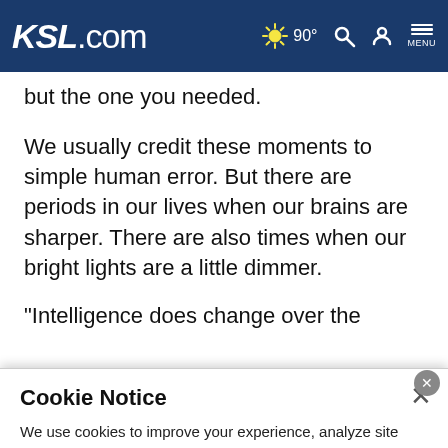KSL.com  90°  Search  Account  MENU
but the one you needed.
We usually credit these moments to simple human error. But there are periods in our lives when our brains are sharper. There are also times when our bright lights are a little dimmer.
"Intelligence does change over the course of a lifetime," said
Cookie Notice
We use cookies to improve your experience, analyze site traffic, and to personalize content and ads. By continuing to use our site, you consent to our use of cookies. Please visit our Terms of Use and Privacy Policy for more information.